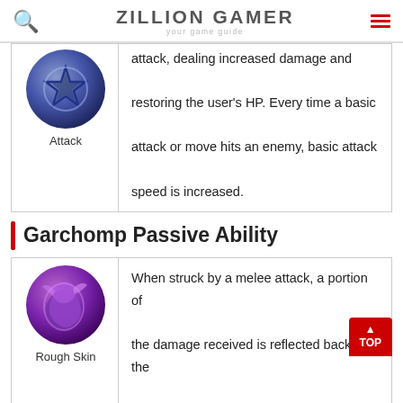ZILLION GAMER | your game guide
attack, dealing increased damage and restoring the user's HP. Every time a basic attack or move hits an enemy, basic attack speed is increased.
[Figure (illustration): Game ability icon: dark star shape on blue/purple circular background. Label: Attack]
Garchomp Passive Ability
| Icon | Description |
| --- | --- |
| Rough Skin | When struck by a melee attack, a portion of the damage received is reflected back at the attacker. |
Garchomp First Move